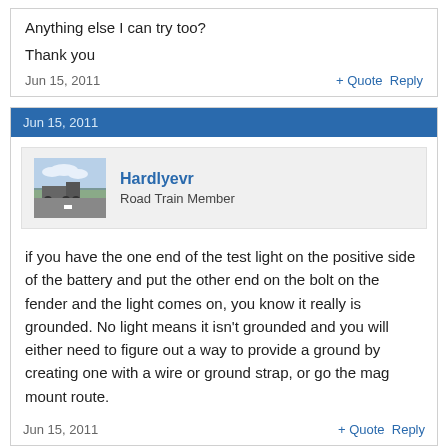Anything else I can try too?
Thank you
Jun 15, 2011
+ Quote   Reply
Jun 15, 2011
Hardlyevr
Road Train Member
if you have the one end of the test light on the positive side of the battery and put the other end on the bolt on the fender and the light comes on, you know it really is grounded. No light means it isn't grounded and you will either need to figure out a way to provide a ground by creating one with a wire or ground strap, or go the mag mount route.
Jun 15, 2011
+ Quote   Reply